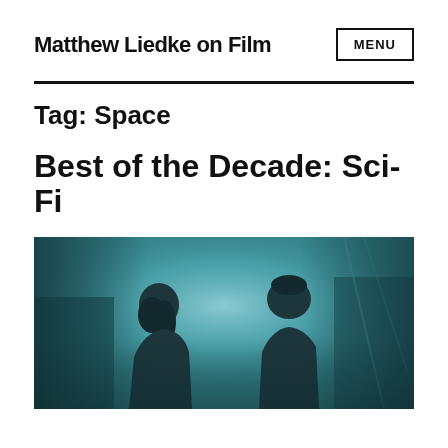Matthew Liedke on Film  MENU
Tag: Space
Best of the Decade: Sci-Fi
[Figure (photo): A cinematic still showing two figures facing each other in a dark, teal-lit sci-fi setting. One figure appears to be a woman with long dark hair, and the other is a man with short hair. The background has a glowing teal/blue atmosphere.]